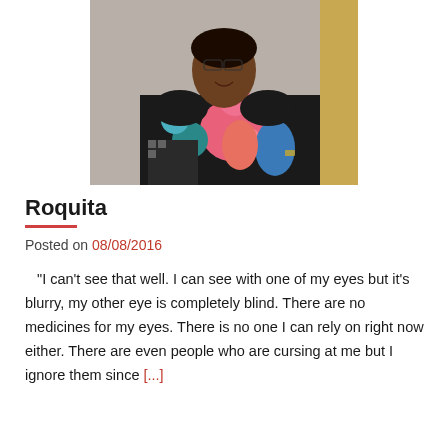[Figure (photo): Portrait photo of an elderly woman wearing a black shirt with colorful floral print (pink, blue, teal flowers), smiling, standing against a light grey/beige wall background.]
Roquita
Posted on 08/08/2016
"I can't see that well. I can see with one of my eyes but it's blurry, my other eye is completely blind. There are no medicines for my eyes. There is no one I can rely on right now either. There are even people who are cursing at me but I ignore them since [...]